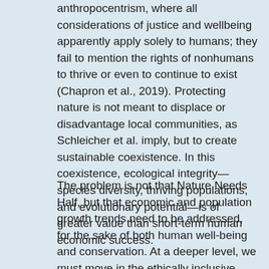anthropocentrism, where all considerations of justice and wellbeing apparently apply solely to humans; they fail to mention the rights of nonhumans to thrive or even to continue to exist (Chapron et al., 2019). Protecting nature is not meant to displace or disadvantage local communities, as Schleicher et al. imply, but to create sustainable coexistence. In this coexistence, ecological integrity—species diversity, thriving populations, and evolutionary potential—is of greater value than short-term human economic success.
The problem is not that Nature Needs Half, but that economic and population growth trends need to be addressed, for the sake of both human well-being and conservation. At a deeper level, we must move in the ethically inclusive direction of protecting the natural world not only because it is good for us, but also because it is good for all (Piccolo et al., 2018). Such inclusive worldviews are already emerging in the leading wave of both popular and academic cultures,